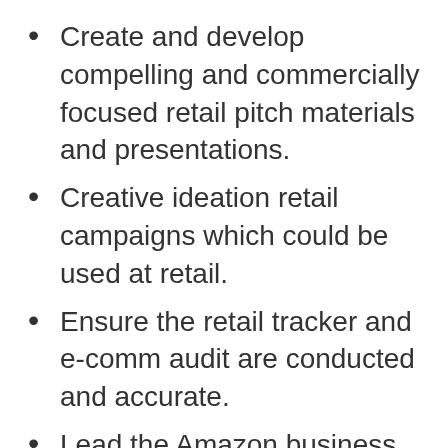Create and develop compelling and commercially focused retail pitch materials and presentations.
Creative ideation retail campaigns which could be used at retail.
Ensure the retail tracker and e-comm audit are conducted and accurate.
Lead the Amazon business. Create, own and manage the Amazon branded storefronts with regular optimisation of paid search campaigns to reach KPIs and grow Paramount consumer products revenues in line with e-comm market trends.
Support in the regular cadence of